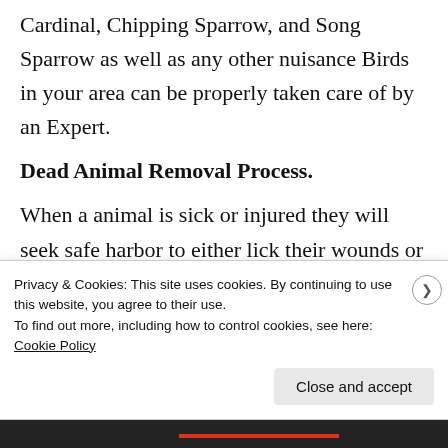Cardinal, Chipping Sparrow, and Song Sparrow as well as any other nuisance Birds in your area can be properly taken care of by an Expert.
Dead Animal Removal Process.
When a animal is sick or injured they will seek safe harbor to either lick their wounds or make arrangement's for their death.
Privacy & Cookies: This site uses cookies. By continuing to use this website, you agree to their use.
To find out more, including how to control cookies, see here: Cookie Policy
Close and accept